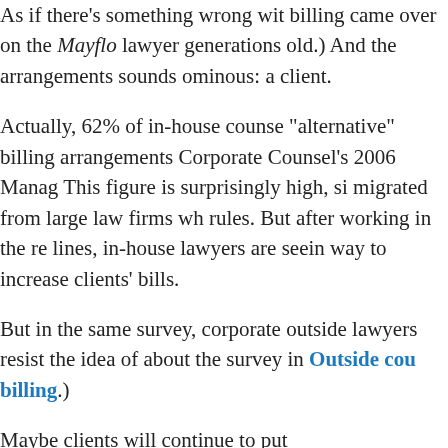As if there's something wrong with billing came over on the Mayflow lawyer generations old.) And the arrangements sounds ominous: a client.
Actually, 62% of in-house counsel "alternative" billing arrangements Corporate Counsel's 2006 Manag This figure is surprisingly high, si migrated from large law firms whe rules. But after working in the rea lines, in-house lawyers are seein way to increase clients' bills.
But in the same survey, corporate outside lawyers resist the idea of about the survey in Outside cou billing.)
Maybe clients will continue to put